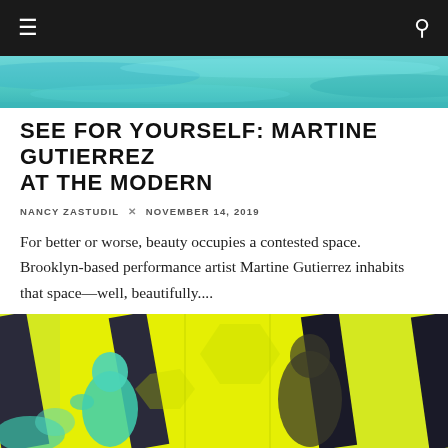Navigation bar with hamburger menu and search icon
[Figure (photo): Teal/turquoise abstract water-like image banner at top]
SEE FOR YOURSELF: MARTINE GUTIERREZ AT THE MODERN
NANCY ZASTUDIL × NOVEMBER 14, 2019
For better or worse, beauty occupies a contested space. Brooklyn-based performance artist Martine Gutierrez inhabits that space—well, beautifully....
ART
DALLAS/FT WORTH
5 MIN READ
[Figure (photo): Yellow/neon green painting with dark silhouetted figures and teal/cyan humanoid forms, architectural geometric shapes]